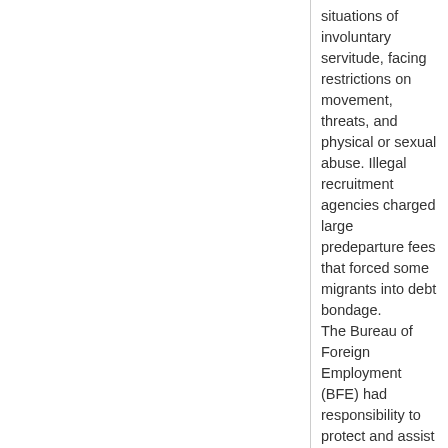situations of involuntary servitude, facing restrictions on movement, threats, and physical or sexual abuse. Illegal recruitment agencies charged large predeparture fees that forced some migrants into debt bondage. The Bureau of Foreign Employment (BFE) had responsibility to protect and assist workers who went abroad for work. The BFE estimated that approximately 1.8 million citizens were